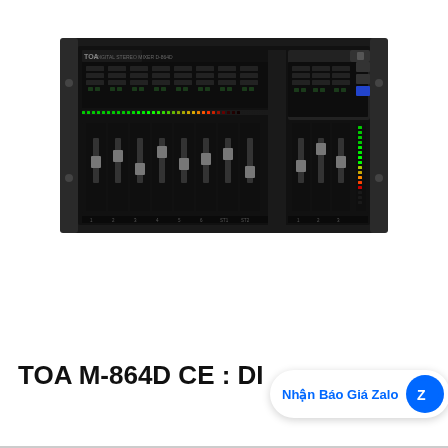[Figure (photo): TOA M-864D CE digital stereo mixer hardware unit shown from front panel view. Black rack-mount unit with multiple channel faders, knobs, LED meters, and controls.]
TOA M-864D CE : DI
Nhận Báo Giá Zalo